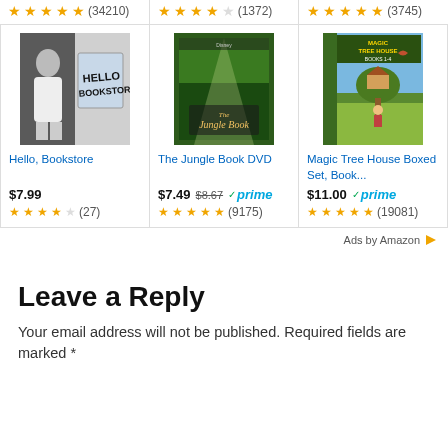[Figure (infographic): Top row of Amazon product cards showing star ratings. Left: 4.5 stars (34210 reviews). Center: 4 stars (1372 reviews). Right: 5 stars (3745 reviews).]
[Figure (photo): Hello Bookstore product listing with photo of person in front of bookstore window, price $7.99, 3.5 stars (27 reviews)]
[Figure (photo): The Jungle Book DVD product listing, price $7.49 (was $8.67), Prime eligible, 5 stars (9175 reviews)]
[Figure (photo): Magic Tree House Boxed Set product listing, price $11.00, Prime eligible, 5 stars (19081 reviews)]
Ads by Amazon
Leave a Reply
Your email address will not be published. Required fields are marked *